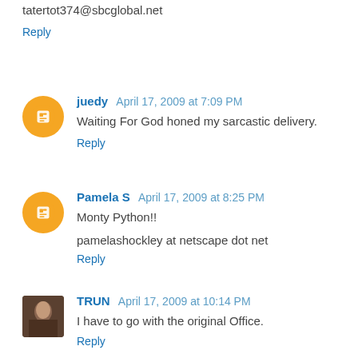tatertot374@sbcglobal.net
Reply
juedy  April 17, 2009 at 7:09 PM
Waiting For God honed my sarcastic delivery.
Reply
Pamela S  April 17, 2009 at 8:25 PM
Monty Python!!
pamelashockley at netscape dot net
Reply
TRUN  April 17, 2009 at 10:14 PM
I have to go with the original Office.
Reply